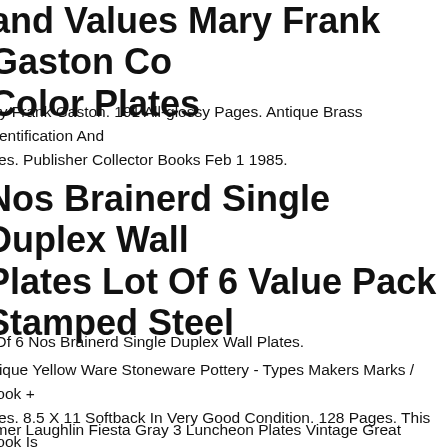and Values Mary Frank Gaston Co Color Plates
ary Frank Gaston. 191 All-glossy Pages. Antique Brass Identification And lues. Publisher Collector Books Feb 1 1985.
Nos Brainerd Single Duplex Wall Plates Lot Of 6 Value Pack Stamped Steel
t Of 6 Nos Brainerd Single Duplex Wall Plates.
ntique Yellow Ware Stoneware Pottery - Types Makers Marks / Book + lues. 8.5 X 11 Softback In Very Good Condition. 128 Pages. This Book Is Comprehensive Pictorial Price Guide To Antique Yellow Ware Pottery And toneware And Provides Information On Makers, Marks, And Values see ate Of Publication.
omer Laughlin Fiesta Gray 3 Luncheon Plates Vintage Great Value. This tractive Pattern Was Produced By Homer Laughlin From 1986 Through